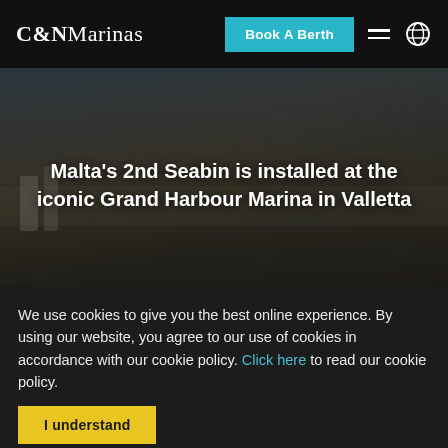C&NMarinas — Book A Berth
[Figure (photo): Blurred marina/harbour scene at dusk with boats and people, serving as a hero background image for the C&N Marinas website.]
Malta's 2nd Seabin is installed at the iconic Grand Harbour Marina in Valletta
We use cookies to give you the best online experience. By using our website, you agree to our use of cookies in accordance with our cookie policy. Click here to read our cookie policy.
I understand